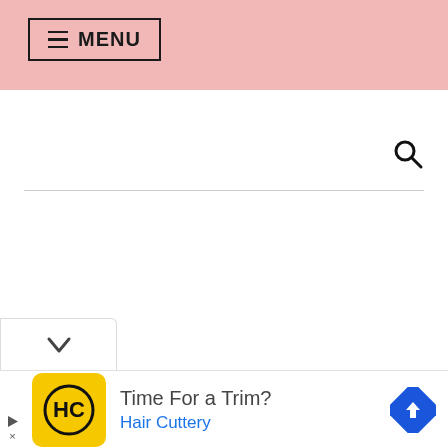≡ MENU
[Figure (screenshot): Search icon (magnifying glass) in top right of navigation bar]
[Figure (screenshot): Chevron/collapse tab button at bottom of content area]
[Figure (screenshot): Advertisement banner: Hair Cuttery - Time For a Trim? with HC logo and navigation arrow icon]